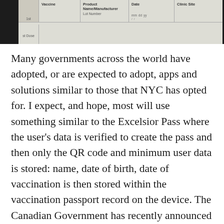[Figure (photo): Cropped photo of a vaccination record card showing columns for Vaccine, Product Name/Manufacturer/Lot Number, Date (mm/dd/yy), and Clinic Site. Partially visible rows including a dose row at the bottom.]
Many governments across the world have adopted, or are expected to adopt, apps and solutions similar to those that NYC has opted for. I expect, and hope, most will use something similar to the Excelsior Pass where the user's data is verified to create the pass and then only the QR code and minimum user data is stored: name, date of birth, date of vaccination is then stored within the vaccination passport record on the device. The Canadian Government has recently announced the use of a similar system; the proposal at present is to include the data mentioned and which vaccine the person received, which may serve a purpose when travelling internationally, but domestically I am unsure why this data point is required.